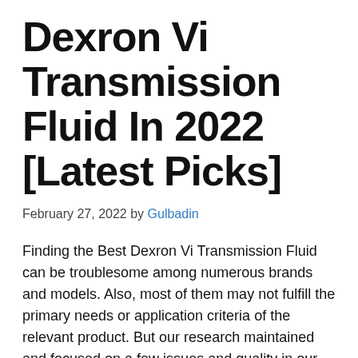Dexron Vi Transmission Fluid In 2022 [Latest Picks]
February 27, 2022 by Gulbadin
Finding the Best Dexron Vi Transmission Fluid can be troublesome among numerous brands and models. Also, most of them may not fulfill the primary needs or application criteria of the relevant product. But our research maintained and focused on a few issues and quality in our Dexron Vi Transmission Fluid review, including